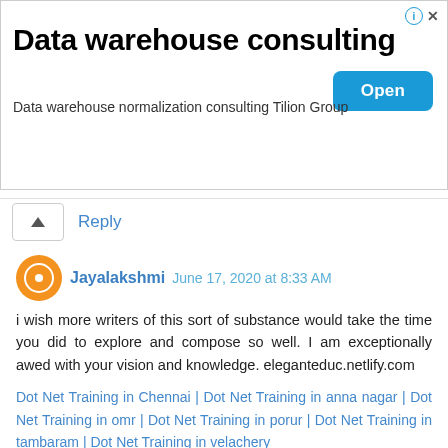[Figure (screenshot): Advertisement banner for 'Data warehouse consulting' with an Open button and info/close icons]
Reply
Jayalakshmi  June 17, 2020 at 8:33 AM
i wish more writers of this sort of substance would take the time you did to explore and compose so well. I am exceptionally awed with your vision and knowledge. eleganteduc.netlify.com
Dot Net Training in Chennai | Dot Net Training in anna nagar | Dot Net Training in omr | Dot Net Training in porur | Dot Net Training in tambaram | Dot Net Training in velachery
Reply